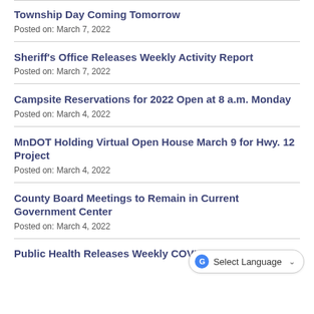Township Day Coming Tomorrow
Posted on: March 7, 2022
Sheriff's Office Releases Weekly Activity Report
Posted on: March 7, 2022
Campsite Reservations for 2022 Open at 8 a.m. Monday
Posted on: March 4, 2022
MnDOT Holding Virtual Open House March 9 for Hwy. 12 Project
Posted on: March 4, 2022
County Board Meetings to Remain in Current Government Center
Posted on: March 4, 2022
Public Health Releases Weekly COVID-19